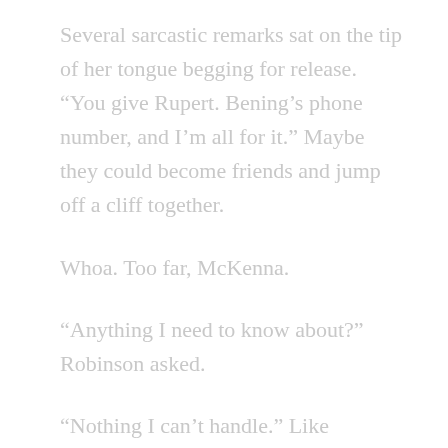Several sarcastic remarks sat on the tip of her tongue begging for release. “You give Rupert. Bening’s phone number, and I’m all for it.” Maybe they could become friends and jump off a cliff together.
Whoa. Too far, McKenna.
“Anything I need to know about?” Robinson asked.
“Nothing I can’t handle.” Like pretending Jordan wasn’t standing inches from her.